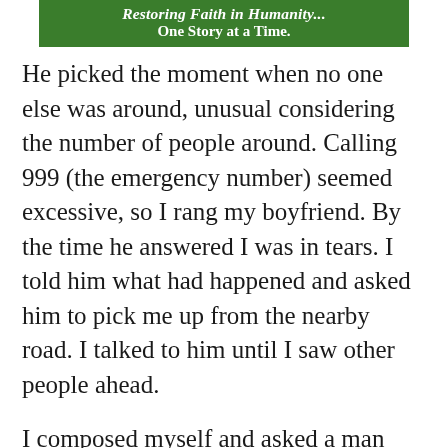Restoring Faith in Humanity... One Story at a Time.
He picked the moment when no one else was around, unusual considering the number of people around. Calling 999 (the emergency number) seemed excessive, so I rang my boyfriend. By the time he answered I was in tears. I told him what had happened and asked him to pick me up from the nearby road. I talked to him until I saw other people ahead.
I composed myself and asked a man fishing in the lake with two young boys if he knew the local police number. I gave a brief explanation of what had occurred, leaving out detail around young ears. He rang his wife but she didn't